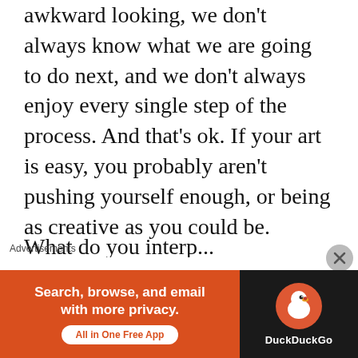awkward looking, we don't always know what we are going to do next, and we don't always enjoy every single step of the process. And that's ok. If your art is easy, you probably aren't pushing yourself enough, or being as creative as you could be.
I haven't talked much about the meaning behind this piece, because I want to hear what you think. This image could definitely be open to innumerable interpretations, and that is one of the most fun things. What do you interpret...
Advertisements
[Figure (screenshot): DuckDuckGo advertisement banner: left side is orange with text 'Search, browse, and email with more privacy.' and pill button 'All in One Free App'; right side is dark with DuckDuckGo logo and name.]